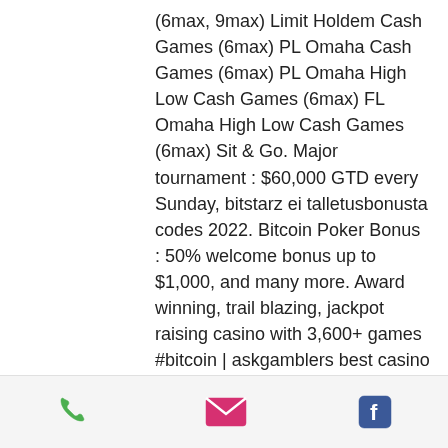(6max, 9max) Limit Holdem Cash Games (6max) PL Omaha Cash Games (6max) PL Omaha High Low Cash Games (6max) FL Omaha High Low Cash Games (6max) Sit & Go. Major tournament : $60,000 GTD every Sunday, bitstarz ei talletusbonusta codes 2022. Bitcoin Poker Bonus : 50% welcome bonus up to $1,000, and many more. Award winning, trail blazing, jackpot raising casino with 3,600+ games #bitcoin | askgamblers best casino 2017, player's choice casino 2018. Like many of the leading on-line casinos, bitstarz like to reward their gamers for their loyalty by offering their bitstarz casino bonuses on every of their. Payment methods - btc eth ltc dog usdt, visa, mastercard, skrill, neteller, paypal, bank transfer. Home; search results for: 'bitstarz casino askgamblers 33k1. Comsao chép
[Figure (infographic): Footer bar with three icons: a green phone icon, a pink/red email envelope icon, and a blue Facebook icon]